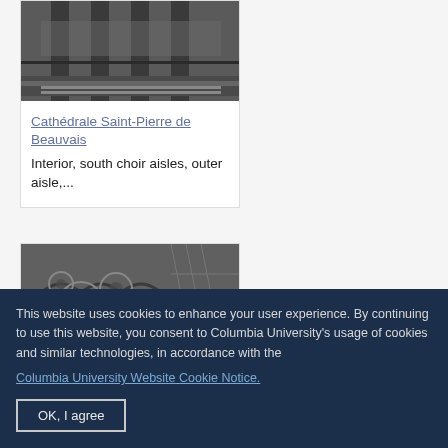[Figure (photo): Black and white photo of cathedral interior with columns and wooden elements, top portion visible]
Cathédrale Saint-Pierre de Beauvais
Interior, south choir aisles, outer aisle,...
[Figure (photo): Black and white photo of cathedral interior showing Gothic arches and circular window tracery]
This website uses cookies to enhance your user experience. By continuing to use this website, you consent to Columbia University's usage of cookies and similar technologies, in accordance with the
Columbia University Website Cookie Notice.
OK, I agree